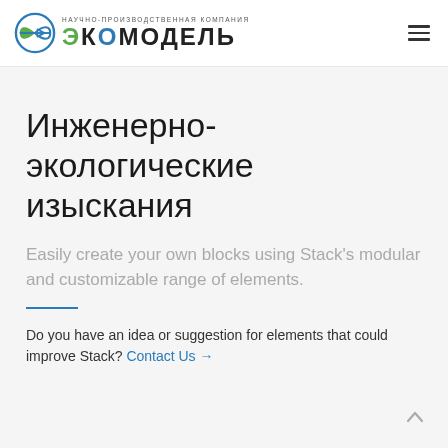ЭКОМОДЕЛЬ — научно-производственная компания
Инженерно-экологические изыскания
Easily create your own blocks using Stack's modular and customizable range of elements.
Do you have an idea or suggestion for elements that could improve Stack? Contact Us →